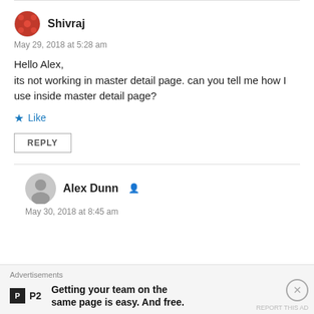Shivraj
May 29, 2018 at 5:28 am
Hello Alex,
its not working in master detail page. can you tell me how I use inside master detail page?
Like
REPLY
Alex Dunn
May 30, 2018 at 8:45 am
Advertisements
Getting your team on the same page is easy. And free.